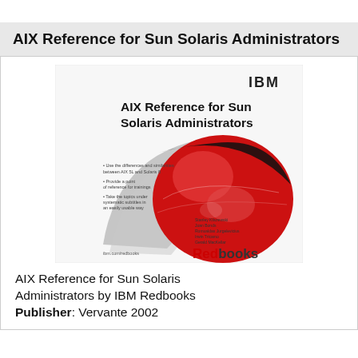AIX Reference for Sun Solaris Administrators
[Figure (illustration): Book cover of 'AIX Reference for Sun Solaris Administrators' IBM Redbooks publication, featuring the IBM logo at top, bold title text, and a red globe/sphere graphic with a grey swoosh, with 'Redbooks' branding at bottom right and author names listed.]
AIX Reference for Sun Solaris Administrators by IBM Redbooks Publisher: Vervante 2002